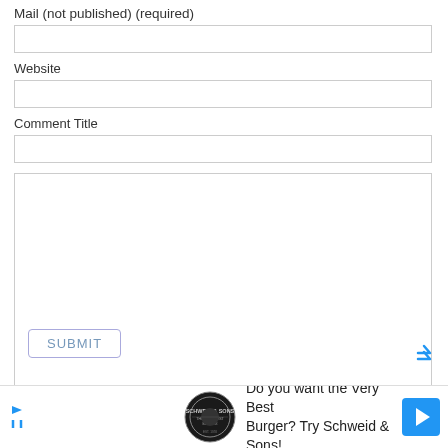Mail (not published) (required)
Website
Comment Title
Confirm you are not a spammer
Check to be notified of comments on this post
SUBMIT
[Figure (infographic): Advertisement banner: Schweid & Sons logo with text 'Do you want the Very Best Burger? Try Schweid & Sons!' and a blue navigation arrow icon.]